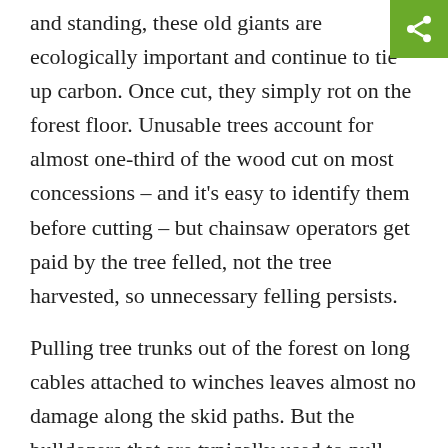and standing, these old giants are ecologically important and continue to tie up carbon. Once cut, they simply rot on the forest floor. Unusable trees account for almost one-third of the wood cut on most concessions – and it's easy to identify them before cutting – but chainsaw operators get paid by the tree felled, not the tree harvested, so unnecessary felling persists.
Pulling tree trunks out of the forest on long cables attached to winches leaves almost no damage along the skid paths. But the bulldozers that are typically used to pull harvested trees out of the forest clear a path at least 12 feet wide to each harvest tree. Winching is harder to detect, so it has become popular with illegal loggers and